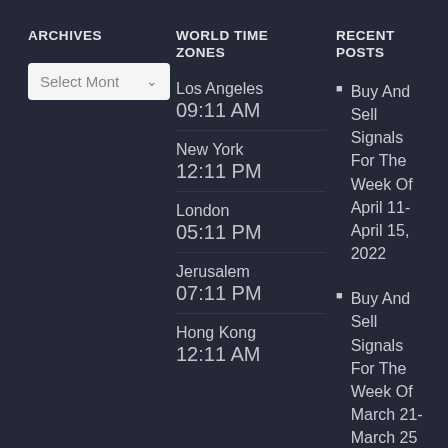ARCHIVES
Select Month (dropdown)
WORLD TIME ZONES
Los Angeles
09:11 AM
New York
12:11 PM
London
05:11 PM
Jerusalem
07:11 PM
Hong Kong
12:11 AM
RECENT POSTS
Buy And Sell Signals For The Week Of April 11- April 15, 2022
Buy And Sell Signals For The Week Of March 21- March 25